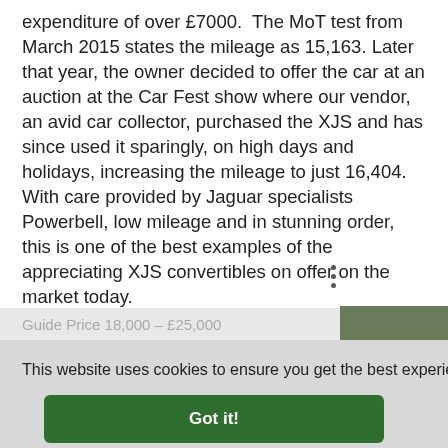expenditure of over £7000. The MoT test from March 2015 states the mileage as 15,163. Later that year, the owner decided to offer the car at an auction at the Car Fest show where our vendor, an avid car collector, purchased the XJS and has since used it sparingly, on high days and holidays, increasing the mileage to just 16,404. With care provided by Jaguar specialists Powerbell, low mileage and in stunning order, this is one of the best examples of the appreciating XJS convertibles on offer on the market today.
Guide Price 18,000 – £25,000
This website uses cookies to ensure you get the best experience on our website. Learn more
Got it!
1988 Jaguar XJS Convertible
More Auction Lots...
show